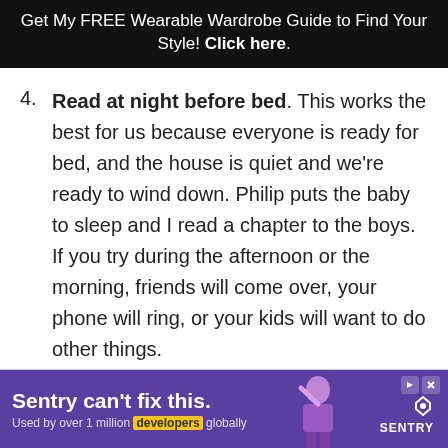Get My FREE Wearable Wardrobe Guide to Find Your Style! Click here.
4. Read at night before bed. This works the best for us because everyone is ready for bed, and the house is quiet and we're ready to wind down. Philip puts the baby to sleep and I read a chapter to the boys. If you try during the afternoon or the morning, friends will come over, your phone will ring, or your kids will want to do other things.
[Figure (other): Sentry advertisement banner: 'Sentry can't fix this. Used by over 1 million developers globally' with purple background and illustration of a person.]